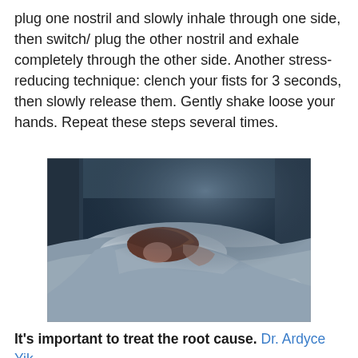plug one nostril and slowly inhale through one side, then switch/ plug the other nostril and exhale completely through the other side. Another stress-reducing technique: clench your fists for 3 seconds, then slowly release them. Gently shake loose your hands. Repeat these steps several times.
[Figure (photo): A woman with red hair sleeping in bed under white covers, shot in dim blue light, viewed from above/side angle.]
It's important to treat the root cause. Dr. Ardyce Yik